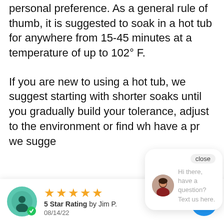personal preference. As a general rule of thumb, it is suggested to soak in a hot tub for anywhere from 15-45 minutes at a temperature of up to 102° F.
If you are new to using a hot tub, we suggest starting with shorter soaks until you gradually build your tolerance, adjust to the environment or find wh... have a pr... we sugge...
[Figure (screenshot): Chat popup overlay with close button, avatar photo of a woman, and text 'Hi there, have a question? Text us here.']
[Figure (infographic): Review bar at bottom showing a teal circular avatar icon with green checkmark, 5 gold stars, '5 Star Rating by Jim P.' and date '08/14/22', with a blue circular chat button on the right.]